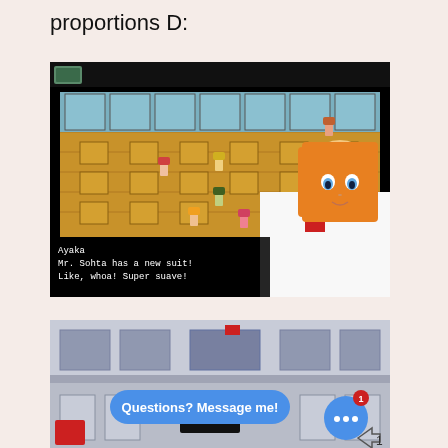proportions D:
[Figure (screenshot): RPG game screenshot showing a classroom scene with anime-style characters, with a dialogue box at the bottom reading: Ayaka / Mr. Sohta has a new suit! / Like, whoa! Super suave! An anime girl with orange hair is visible on the right side.]
[Figure (screenshot): Second game screenshot showing a building exterior/interior scene, with an overlaid chat bubble saying 'Questions? Message me!' and a blue chat icon with notification badge showing 1, and a share icon with count 1.]